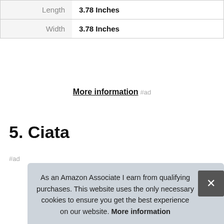|  |  |
| --- | --- |
| Length | 3.78 Inches |
| Width | 3.78 Inches |
More information #ad
5. Ciata
#ad
As an Amazon Associate I earn from qualifying purchases. This website uses the only necessary cookies to ensure you get the best experience on our website. More information